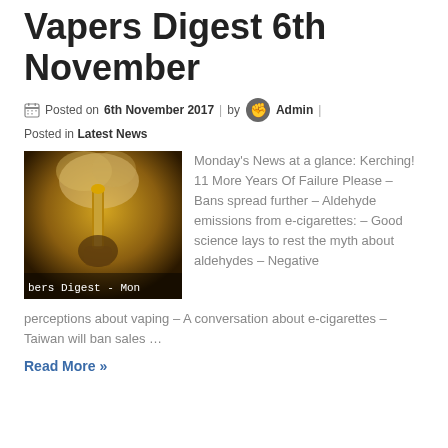Vapers Digest 6th November
Posted on 6th November 2017 | by Admin |
Posted in Latest News
[Figure (photo): Close-up photo of a vaping device with vapor, overlaid with text 'bers Digest - Mon']
Monday's News at a glance: Kerching! 11 More Years Of Failure Please – Bans spread further – Aldehyde emissions from e-cigarettes: – Good science lays to rest the myth about aldehydes – Negative perceptions about vaping – A conversation about e-cigarettes – Taiwan will ban sales …
Read More »